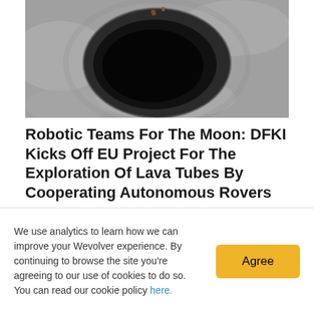[Figure (photo): Aerial or close-up photograph of a dark lava tube opening on a grey lunar or volcanic surface, viewed from above.]
Robotic Teams For The Moon: DFKI Kicks Off EU Project For The Exploration Of Lava Tubes By Cooperating Autonomous Rovers
Water, protection, stable temperatures: When it comes to finding suitable areas for long-term lunar missions, the lava tubes on the moon are of great
We use analytics to learn how we can improve your Wevolver experience. By continuing to browse the site you're agreeing to our use of cookies to do so. You can read our cookie policy here.
Agree